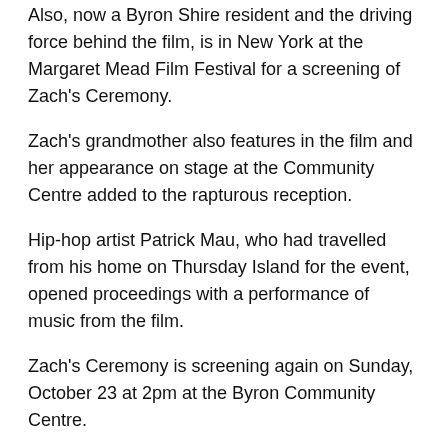Also, now a Byron Shire resident and the driving force behind the film, is in New York at the Margaret Mead Film Festival for a screening of Zach's Ceremony.
Zach's grandmother also features in the film and her appearance on stage at the Community Centre added to the rapturous reception.
Hip-hop artist Patrick Mau, who had travelled from his home on Thursday Island for the event, opened proceedings with a performance of music from the film.
Zach's Ceremony is screening again on Sunday, October 23 at 2pm at the Byron Community Centre.
Between now and then thousands of people will be enjoying the remaining 100 plus films, and special events at the festival – the biggest yet in its 10-year history.